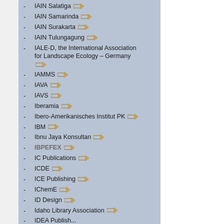IAIN Salatiga
IAIN Samarinda
IAIN Surakarta
IAIN Tulungagung
IALE-D, the International Association for Landscape Ecology – Germany
IAMMS
IAVA
IAVS
Iberamia
Ibero-Amerikanisches Institut PK
IBM
Ibnu Jaya Konsultan
IBPEFEX
IC Publications
ICDE
ICE Publishing
IChemE
ID Design
Idaho Library Association
IDEA Publish...